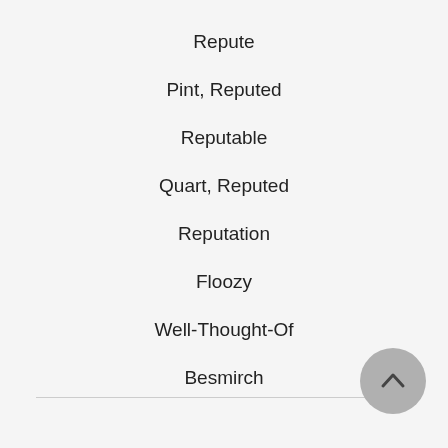Repute
Pint, Reputed
Reputable
Quart, Reputed
Reputation
Floozy
Well-Thought-Of
Besmirch